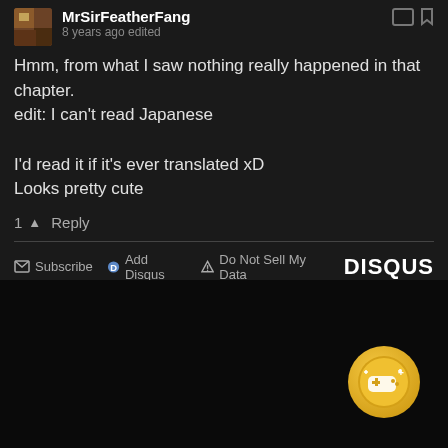MrSirFeatherFang — 8 years ago edited
Hmm, from what I saw nothing really happened in that chapter.
edit: I can't read Japanese

I'd read it if it's ever translated xD
Looks pretty cute
1 ▲ Reply
Subscribe  Add Disqus  Do Not Sell My Data  DISQUS
[Figure (other): Dark black region with a gold badge icon in bottom-right showing a game controller with plus sign]